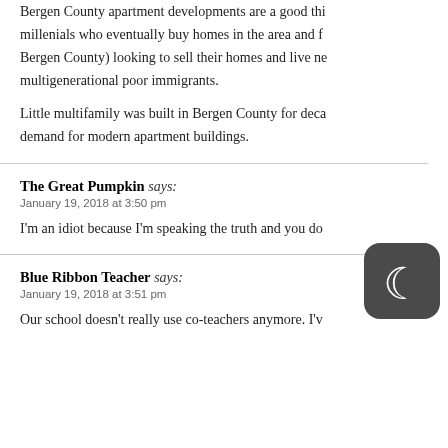Bergen County apartment developments are a good thing for millenials who eventually buy homes in the area and for Bergen County) looking to sell their homes and live ne multigenerational poor immigrants.
Little multifamily was built in Bergen County for deca demand for modern apartment buildings.
The Great Pumpkin says:
January 19, 2018 at 3:50 pm
I’m an idiot because I’m speaking the truth and you do
Blue Ribbon Teacher says:
January 19, 2018 at 3:51 pm
Our school doesn’t really use co-teachers anymore. I’v
[Figure (logo): Dark gray rounded square icon with a crescent moon symbol in white, resembling a night mode or app icon.]